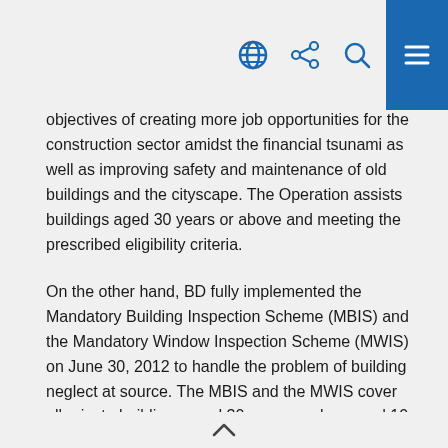navigation header with globe, share, search, and menu icons
objectives of creating more job opportunities for the construction sector amidst the financial tsunami as well as improving safety and maintenance of old buildings and the cityscape. The Operation assists buildings aged 30 years or above and meeting the prescribed eligibility criteria.
On the other hand, BD fully implemented the Mandatory Building Inspection Scheme (MBIS) and the Mandatory Window Inspection Scheme (MWIS) on June 30, 2012 to handle the problem of building neglect at source. The MBIS and the MWIS cover all private buildings aged 30 years or above and 10 years or above respectively, except domestic buildings not exceeding three storeys in
^